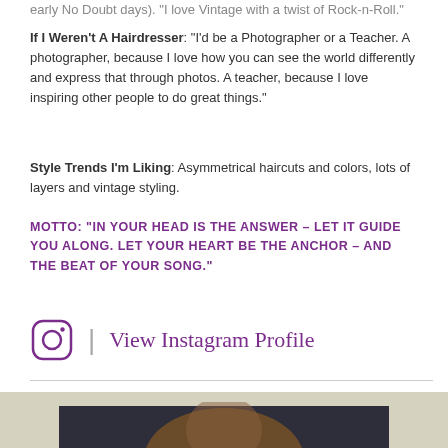early No Doubt days). "I love Vintage with a twist of Rock-n-Roll."
If I Weren't A Hairdresser: "I'd be a Photographer or a Teacher. A photographer, because I love how you can see the world differently and express that through photos. A teacher, because I love inspiring other people to do great things."
Style Trends I'm Liking: Asymmetrical haircuts and colors, lots of layers and vintage styling.
MOTTO: "IN YOUR HEAD IS THE ANSWER – LET IT GUIDE YOU ALONG. LET YOUR HEART BE THE ANCHOR – AND THE BEAT OF YOUR SONG."
[Figure (other): Instagram icon with 'View Instagram Profile' link in purple cursive text]
[Figure (photo): Portrait photo of a person with brown hair against a dark background, shown from shoulders up]